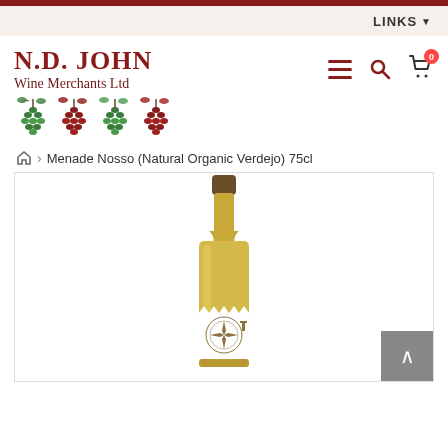[Figure (logo): N.D. John Wine Merchants Ltd logo with grape bunch illustrations]
LINKS
Menade Nosso (Natural Organic Verdejo) 75cl
[Figure (photo): Wine bottle - Menade Nosso Natural Organic Verdejo 75cl, white wine bottle with label featuring compass/star design]